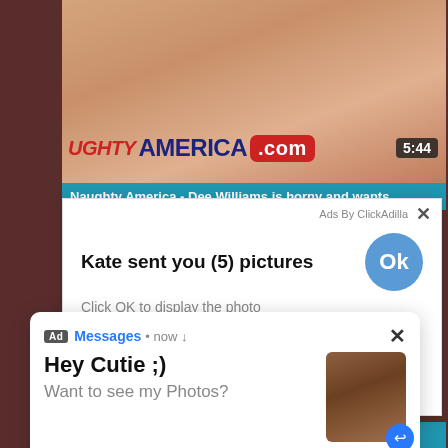[Figure (screenshot): Video thumbnail showing Naughty America website branding with logo and duration 5:44]
Naughty America - Dee Williams is horny and wants
[Figure (screenshot): Ad popup by ClickAdilla: Kate sent you (5) pictures. Click OK to display the photo. Blue OK button.]
[Figure (screenshot): Ad notification popup: Messages now. Hey Cutie ;) Want to see my Photos? With thumbnail image and reply icon.]
Lauren Phillips & Penelope Kay - Naughty Namaste
cj4